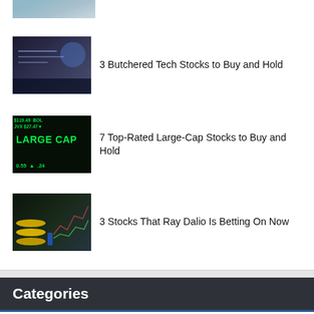[Figure (photo): Partial thumbnail image at top, likely solar panels or outdoor scene]
[Figure (photo): Tech-themed thumbnail image with dark background and hand/glowing elements]
3 Butchered Tech Stocks to Buy and Hold
[Figure (photo): Stock market large-cap ticker display with green numbers and LARGE CAP text]
7 Top-Rated Large-Cap Stocks to Buy and Hold
[Figure (photo): Gold coins stack with miniature businessman in front of stock chart background]
3 Stocks That Ray Dalio Is Betting On Now
Categories
Dividend Stocks